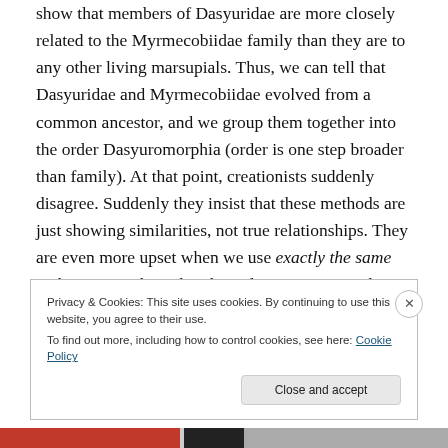show that members of Dasyuridae are more closely related to the Myrmecobiidae family than they are to any other living marsupials. Thus, we can tell that Dasyuridae and Myrmecobiidae evolved from a common ancestor, and we group them together into the order Dasyuromorphia (order is one step broader than family). At that point, creationists suddenly disagree. Suddenly they insist that these methods are just showing similarities, not true relationships. They are even more upset when we use exactly the same techniques to show that the order Dasyuromorphia evolved from the same common
Privacy & Cookies: This site uses cookies. By continuing to use this website, you agree to their use.
To find out more, including how to control cookies, see here: Cookie Policy